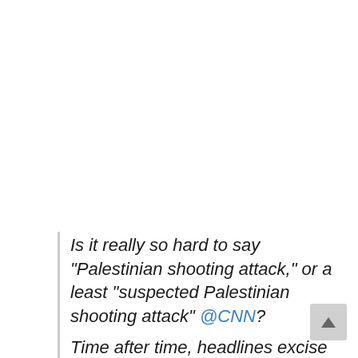Is it really so hard to say "Palestinian shooting attack," or a least "suspected Palestinian shooting attack" @CNN?
Time after time, headlines excise